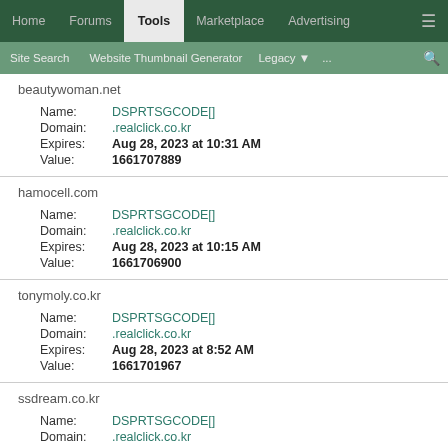Home | Forums | Tools | Marketplace | Advertising | ≡
Site Search | Website Thumbnail Generator | Legacy ▾ | ... | 🔍
beautywoman.net
Name: DSPRTSGCODE[]
Domain: .realclick.co.kr
Expires: Aug 28, 2023 at 10:31 AM
Value: 1661707889
hamocell.com
Name: DSPRTSGCODE[]
Domain: .realclick.co.kr
Expires: Aug 28, 2023 at 10:15 AM
Value: 1661706900
tonymoly.co.kr
Name: DSPRTSGCODE[]
Domain: .realclick.co.kr
Expires: Aug 28, 2023 at 8:52 AM
Value: 1661701967
ssdream.co.kr
Name: DSPRTSGCODE[]
Domain: .realclick.co.kr
Expires: Aug 28, 2023 at 8:14 AM